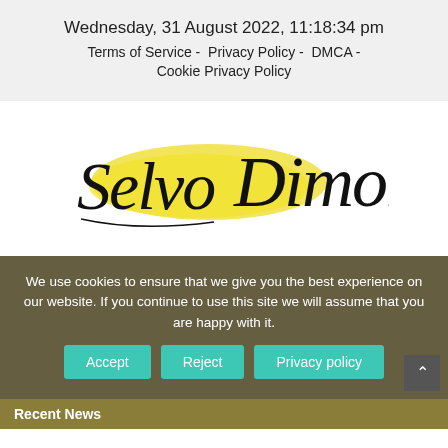Wednesday, 31 August 2022, 11:18:34 pm
Terms of Service  -  Privacy Policy  -  DMCA  -  Cookie Privacy Policy
[Figure (logo): Selvo Dimont handwritten script logo with yellow brush stroke background]
We use cookies to ensure that we give you the best experience on our website. If you continue to use this site we will assume that you are happy with it.
Accept   Reject   Privacy policy
Recent News